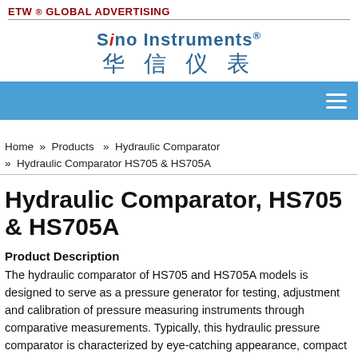ETW ® GLOBAL ADVERTISING
[Figure (logo): Sino Instruments logo with English text 'Sino Instruments®' and Chinese characters '华 信 仪 表']
Home » Products » Hydraulic Comparator » Hydraulic Comparator HS705 & HS705A
Hydraulic Comparator, HS705 & HS705A
Product Description
The hydraulic comparator of HS705 and HS705A models is designed to serve as a pressure generator for testing, adjustment and calibration of pressure measuring instruments through comparative measurements. Typically, this hydraulic pressure comparator is characterized by eye-catching appearance, compact size, light weight, easy operation, easy maintenance